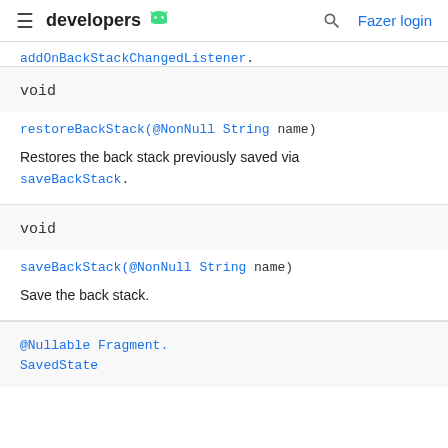≡ developers [android logo] [search] Fazer login
addOnBackStackChangedListener.
void
restoreBackStack(@NonNull String name)
Restores the back stack previously saved via saveBackStack.
void
saveBackStack(@NonNull String name)
Save the back stack.
@Nullable Fragment.SavedState